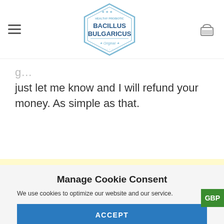[Figure (logo): Bacillus Bulgaricus hexagonal logo with text 'HEALTHY PROBIOTIC BACILLUS BULGARICUS Original']
just let me know and I will refund your money. As simple as that.
Manage Cookie Consent
We use cookies to optimize our website and our service.
ACCEPT
DENY
PREFERENCES